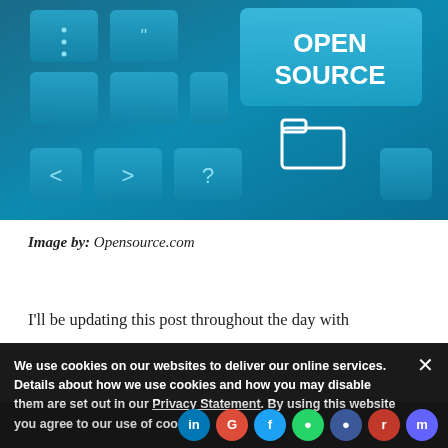[Figure (illustration): Close-up photo of a blue keyboard with a large key labeled 'OPEN SOURCE' and a folder icon on it, set against a teal/blue tone.]
Image by: Opensource.com
I'll be updating this post throughout the day with more images of sites that have joined the SOPA blackout. Leave a comment with any site you'd like to be included, and I'll add it. You can share these easily.
We use cookies on our websites to deliver our online services. Details about how we use cookies and how you may disable them are set out in our Privacy Statement. By using this website you agree to our use of cookies.